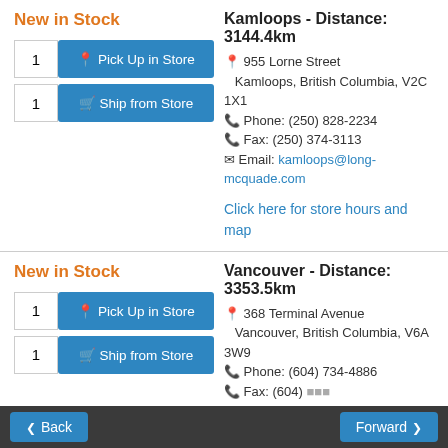New in Stock
1 | Pick Up in Store | 1 | Ship from Store
Kamloops - Distance: 3144.4km
955 Lorne Street Kamloops, British Columbia, V2C 1X1
Phone: (250) 828-2234
Fax: (250) 374-3113
Email: kamloops@long-mcquade.com
Click here for store hours and map
New in Stock
1 | Pick Up in Store | 1 | Ship from Store
Vancouver - Distance: 3353.5km
368 Terminal Avenue Vancouver, British Columbia, V6A 3W9
Phone: (604) 734-4886
Back | Forward